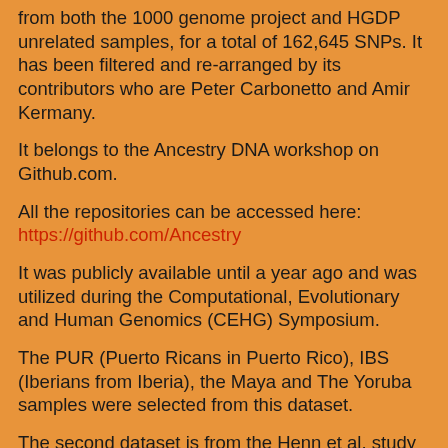from both the 1000 genome project and HGDP unrelated samples, for a total of 162,645 SNPs. It has been filtered and re-arranged by its contributors who are Peter Carbonetto and Amir Kermany.
It belongs to the Ancestry DNA workshop on Github.com.
All the repositories can be accessed here:
https://github.com/Ancestry
It was publicly available until a year ago and was utilized during the Computational, Evolutionary and Human Genomics (CEHG) Symposium.
The PUR (Puerto Ricans in Puerto Rico), IBS (Iberians from Iberia), the Maya and The Yoruba samples were selected from this dataset.
The second dataset is from the Henn et al. study from 2012, “Genomic Ancestry of North Africans Supports Back-to-Africa Migrations.” It contains the North African samples that I used for the exercises. I merged them with the dataset that